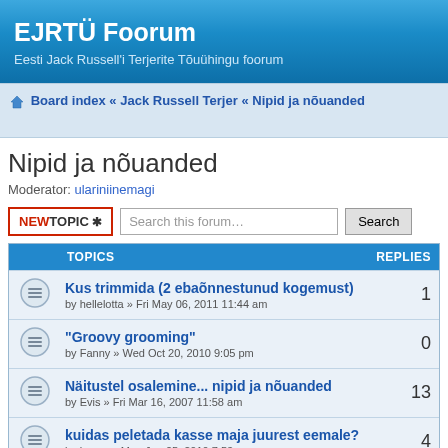EJRTÜ Foorum
Eesti Jack Russell'i Terjerite Tõuühingu foorum
Board index « Jack Russell Terjer « Nipid ja nõuanded
Nipid ja nõuanded
Moderator: ulariniinemagi
| TOPICS | REPLIES |
| --- | --- |
| Kus trimmida (2 ebaõnnestunud kogemust)
by hellelotta » Fri May 06, 2011 11:44 am | 1 |
| "Groovy grooming"
by Fanny » Wed Oct 20, 2010 9:05 pm | 0 |
| Näitustel osalemine... nipid ja nõuanded
by Evis » Fri Mar 16, 2007 11:58 am | 13 |
| kuidas peletada kasse maja juurest eemale?
by kessu » Mon Jan 25, 2010 7:53 pm | 4 |